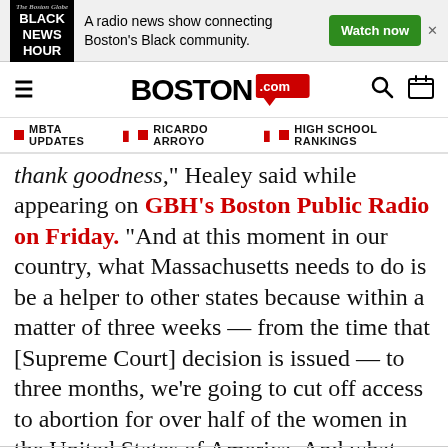[Figure (screenshot): Black News Hour advertisement banner: logo on left, text 'A radio news show connecting Boston's Black community.', green Watch now button]
Boston.com navigation header with hamburger menu, Boston.com logo, search and calendar icons
MBTA UPDATES
RICARDO ARROYO
HIGH SCHOOL RANKINGS
thank goodness,” Healey said while appearing on GBH’s Boston Public Radio on Friday. “And at this moment in our country, what Massachusetts needs to do is be a helper to other states because within a matter of three weeks — from the time that [Supreme Court] decision is issued — to three months, we’re going to cut off access to abortion for over half of the women in the United States of America. And what that means is more women will becoming to states like Massachusetts.”